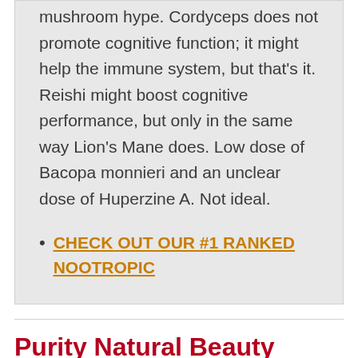mushroom hype. Cordyceps does not promote cognitive function; it might help the immune system, but that's it. Reishi might boost cognitive performance, but only in the same way Lion's Mane does. Low dose of Bacopa monnieri and an unclear dose of Huperzine A. Not ideal.
CHECK OUT OUR #1 RANKED NOOTROPIC
Purity Natural Beauty Brain Boost Review: What does it